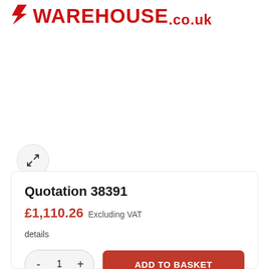[Figure (logo): Warehouse.co.uk logo in red with arrow/chevron icon on the left]
[Figure (photo): Product image area (white/blank space with expand icon button)]
Quotation 38391
£1,110.26 Excluding VAT
details
- 1 + ADD TO BASKET